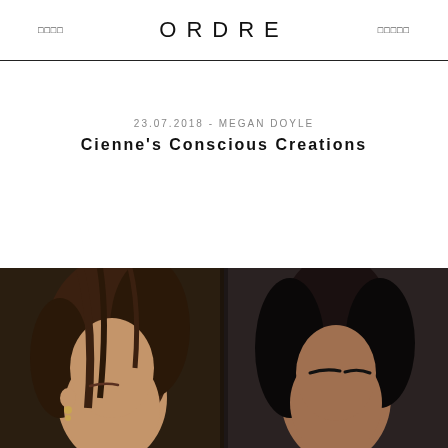ORDRE
23.07.2018 - MEGAN DOYLE
Cienne's Conscious Creations
[Figure (photo): Two fashion models photographed from shoulders up — left model with light brown hair pulled back showing ear with earring, right model with dark hair, both against dark background]